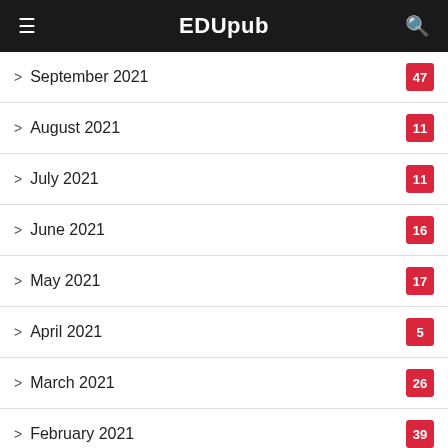EDUpub
September 2021  47
August 2021  11
July 2021  11
June 2021  16
May 2021  17
April 2021  5
March 2021  26
February 2021  39
January 2021  39
December 2020  8
March 2020  17